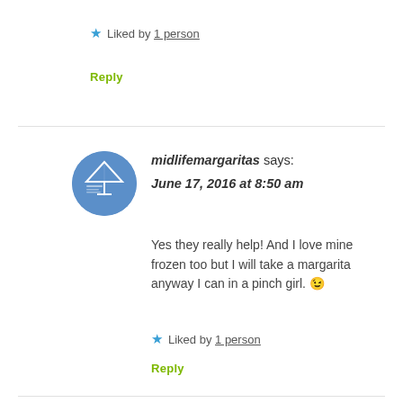★ Liked by 1 person
Reply
[Figure (illustration): Blue circular avatar with midlifemargaritas logo — a martini glass silhouette and text 'Midlife Margaritas' on blue background]
midlifemargaritas says: June 17, 2016 at 8:50 am
Yes they really help! And I love mine frozen too but I will take a margarita anyway I can in a pinch girl. 😉
★ Liked by 1 person
Reply